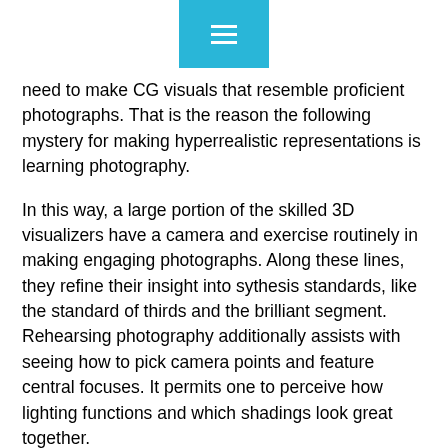menu
need to make CG visuals that resemble proficient photographs. That is the reason the following mystery for making hyperrealistic representations is learning photography.
In this way, a large portion of the skilled 3D visualizers have a camera and exercise routinely in making engaging photographs. Along these lines, they refine their insight into sythesis standards, like the standard of thirds and the brilliant segment. Rehearsing photography additionally assists with seeing how to pick camera points and feature central focuses. It permits one to perceive how lighting functions and which shadings look great together.
Aside from taking pictures with a camera, 3D experts additionally invest a lot of energy analyzing proficient photographs in books, online displays, shows, etc. Thusly,